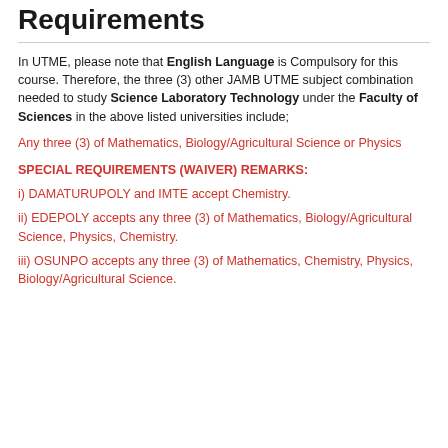Requirements
In UTME, please note that English Language is Compulsory for this course. Therefore, the three (3) other JAMB UTME subject combination needed to study Science Laboratory Technology under the Faculty of Sciences in the above listed universities include;
Any three (3) of Mathematics, Biology/Agricultural Science or Physics
SPECIAL REQUIREMENTS (WAIVER) REMARKS:
i) DAMATURUPOLY and IMTE accept Chemistry.
ii) EDEPOLY accepts any three (3) of Mathematics, Biology/Agricultural Science, Physics, Chemistry.
iii) OSUNPO accepts any three (3) of Mathematics, Chemistry, Physics, Biology/Agricultural Science.